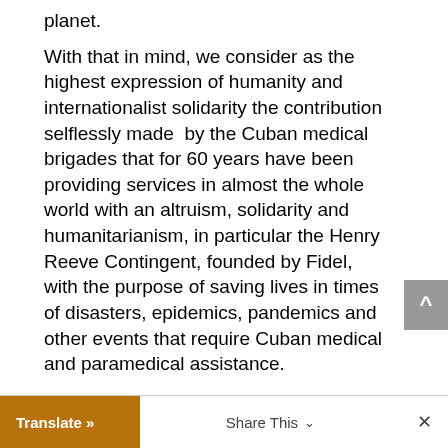planet.
With that in mind, we consider as the highest expression of humanity and internationalist solidarity the contribution selflessly made  by the Cuban medical brigades that for 60 years have been providing services in almost the whole world with an altruism, solidarity and humanitarianism, in particular the Henry Reeve Contingent, founded by Fidel, with the purpose of saving lives in times of disasters, epidemics, pandemics and other events that require Cuban medical and paramedical assistance.
Translate »   Share This   ×